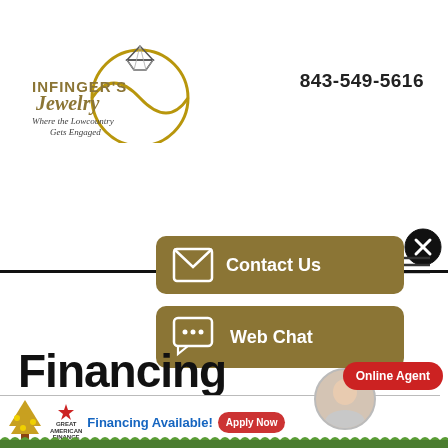[Figure (logo): Infinger's Jewelry logo with ring and diamond illustration, tagline: Where the Lowcountry Gets Engaged]
843-549-5616
[Figure (other): Contact Us button (gold/dark yellow rounded rectangle with envelope icon)]
[Figure (other): Web Chat button (gold/dark yellow rounded rectangle with chat bubble icon)]
Financing
[Figure (other): Great American Finance banner: tree logo, star logo, 'GREAT AMERICAN FINANCE', 'Financing Available!', 'Apply Now' red button]
[Figure (other): Online Agent avatar (woman photo) with green dot and red 'Online Agent' button]